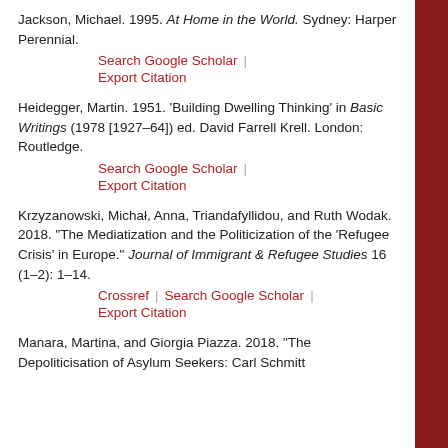Jackson, Michael. 1995. At Home in the World. Sydney: Harper Perennial.
Heidegger, Martin. 1951. 'Building Dwelling Thinking' in Basic Writings (1978 [1927–64]) ed. David Farrell Krell. London: Routledge.
Krzyzanowski, Michał, Anna, Triandafyllidou, and Ruth Wodak. 2018. "The Mediatization and the Politicization of the 'Refugee Crisis' in Europe." Journal of Immigrant & Refugee Studies 16 (1–2): 1–14.
Manara, Martina, and Giorgia Piazza. 2018. "The Depoliticisation of Asylum Seekers: Carl Schmitt